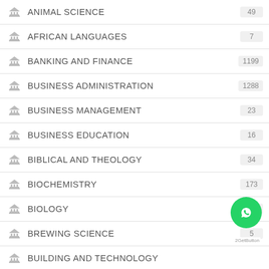ANIMAL SCIENCE
AFRICAN LANGUAGES
BANKING AND FINANCE
BUSINESS ADMINISTRATION
BUSINESS MANAGEMENT
BUSINESS EDUCATION
BIBLICAL AND THEOLOGY
BIOCHEMISTRY
BIOLOGY
BREWING SCIENCE
BUILDING AND TECHNOLOGY
COMPUTER SCIENCE